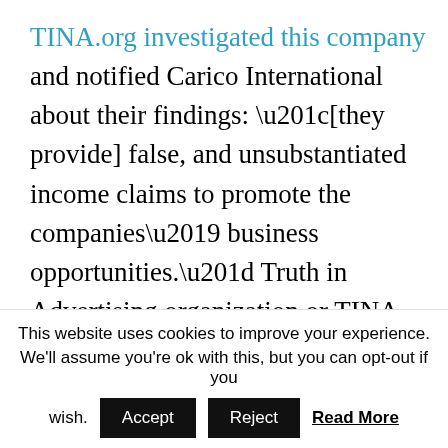TINA.org investigated this company and notified Carico International about their findings: “[they provide] false, and unsubstantiated income claims to promote the companies’ business opportunities.” Truth in Advertising organization or TINA org is dedicated to uncovering deceitful marketing practices through investigative journalism. Their advocacy is to stop marketing companies from victimizing potential markets with their confusing statements and
This website uses cookies to improve your experience. We'll assume you're ok with this, but you can opt-out if you wish. [Accept] [Reject] Read More